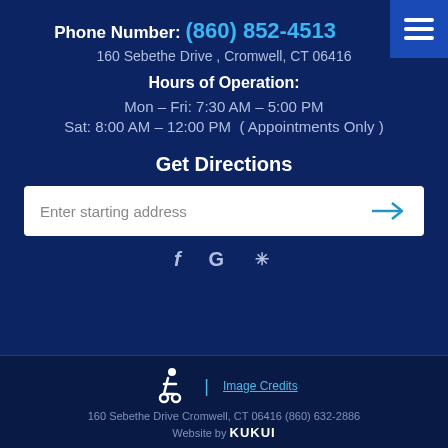Phone Number: (860) 852-4513
160 Sebethe Drive , Cromwell, CT 06416
Hours of Operation:
Mon – Fri: 7:30 AM – 5:00 PM
Sat: 8:00 AM – 12:00 PM  ( Appointments Only )
Get Directions
Enter starting address
Social icons: Facebook, Google, Yelp
160 Sebethe Drive Cromwell, CT 06416 (860) 632-2886 | Image Credits | Website by KUKUI